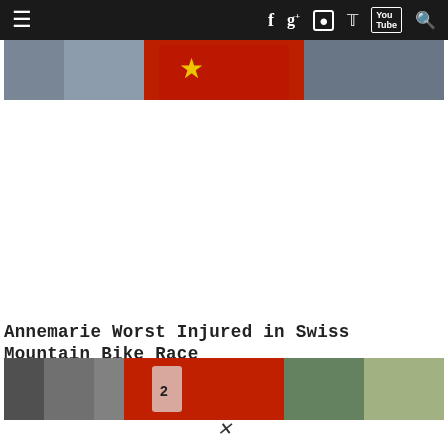≡ f g+ ◉ 𝕏 You Tube 🔍
[Figure (photo): Top cropped photo showing a person in a red jersey with a European flag with yellow star, against a blurred crowd background]
Annemarie Worst Injured in Swiss Mountain Bike Race
[Figure (photo): Photo of a cyclist in red racing jersey with race number, riding a mountain bike on a course with spectators in background]
×